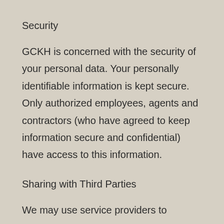Security
GCKH is concerned with the security of your personal data. Your personally identifiable information is kept secure. Only authorized employees, agents and contractors (who have agreed to keep information secure and confidential) have access to this information.
Sharing with Third Parties
We may use service providers to process